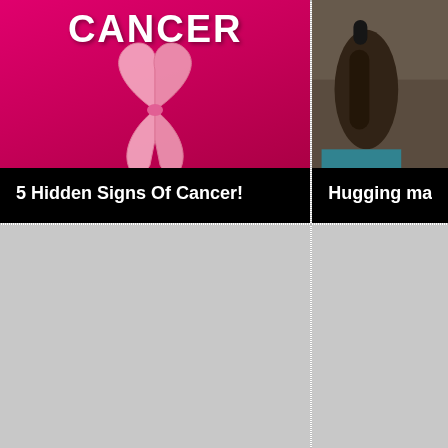[Figure (photo): Pink/magenta background with breast cancer awareness ribbon and text 'CANCER' at the top, video thumbnail style]
5 Hidden Signs Of Cancer!
[Figure (photo): Person holding a microphone, outdoor setting, partial view cropped on right side, video thumbnail for 'Hugging matters in...']
Hugging matters i
[Figure (photo): Gray placeholder image, bottom-left card]
[Figure (photo): Gray placeholder image, bottom-right card]